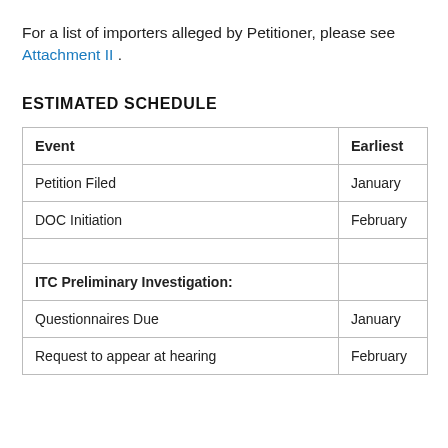For a list of importers alleged by Petitioner, please see Attachment II .
ESTIMATED SCHEDULE
| Event | Earliest |
| --- | --- |
| Petition Filed | January |
| DOC Initiation | February |
|  |  |
| ITC Preliminary Investigation: |  |
| Questionnaires Due | January |
| Request to appear at hearing | February |